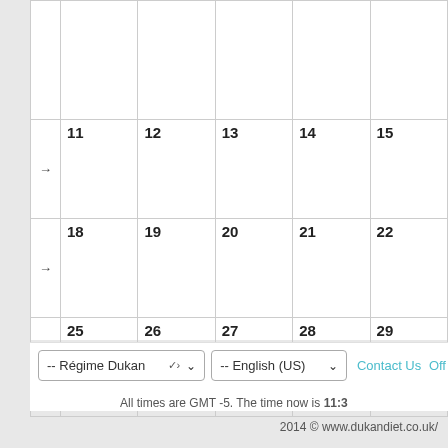|  | Mon | Tue | Wed | Thu | Fri |
| --- | --- | --- | --- | --- | --- |
|  |  |  |  |  |  |
| → | 11 | 12 | 13 | 14 | 15 |
| → | 18 | 19 | 20 | 21 | 22 |
| → | 25 | 26 | 27 | 28 | 29 |
-- Régime Dukan
-- English (US)
Contact Us  Off
All times are GMT -5. The time now is 11:3
2014 © www.dukandiet.co.uk/